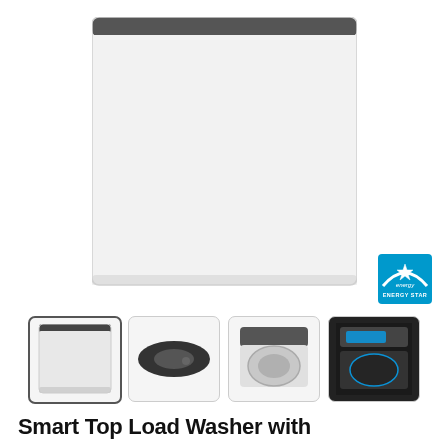[Figure (photo): Main product image of a white top-load washing machine, shown from front-top angle, with a dark gray control panel strip at top. White body with rounded corners.]
[Figure (logo): ENERGY STAR certification badge in blue and teal colors]
[Figure (photo): Thumbnail 1: Front-angle view of white top-load washer (selected/active thumbnail)]
[Figure (photo): Thumbnail 2: Side/top view of the washer lid, dark color]
[Figure (photo): Thumbnail 3: Top-down view of washer drum interior]
[Figure (photo): Thumbnail 4: Close-up of washer control panel with blue display]
Smart Top Load Washer with Extra Power Button 5.2 cu. ft.